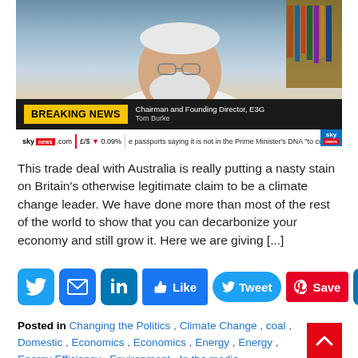[Figure (screenshot): Screenshot of Sky News broadcast showing a man with white beard and hair being interviewed via video call. Lower third shows 'BREAKING NEWS' with 'Chairman and Founding Director, E3G / Tom Burke'. Ticker shows Sky News branding, GBP/USD rate down 0.09%, and a text ticker.]
This trade deal with Australia is really putting a nasty stain on Britain's otherwise legitimate claim to be a climate change leader. We have done more than most of the rest of the world to show that you can decarbonize your economy and still grow it. Here we are giving [...]
[Figure (infographic): Social media sharing buttons: Twitter, Email, LinkedIn, Like, Tweet, Save (Pinterest), and plus button]
Posted in Changing the Politics , Climate Change , coal , Domestic , Economics , Economics , Energy , Energy , Energy Efficiency , Environment , In the media , International , Interviews , Media , Oil and Gas , Policy , Politics , Sky News , Tagged agriculture, Australia, carbon, climate